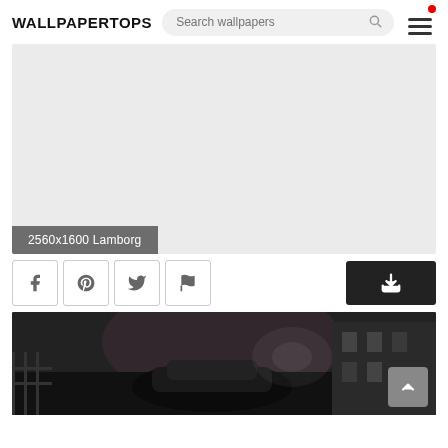WALLPAPERTOPS
[Figure (screenshot): Website header with WALLPAPERTOPS logo, search bar with 'Search wallpapers' placeholder, and hamburger menu icon with red notification dot]
[Figure (photo): Large empty light gray placeholder image area for a wallpaper]
2560x1600 Lamborg
[Figure (infographic): Action bar with Facebook, Pinterest, Twitter, Flag icon buttons and a dark download button]
[Figure (photo): Dark moody black and white photo of a car in an urban scene, partially visible at bottom of page, with back-to-top arrow button]